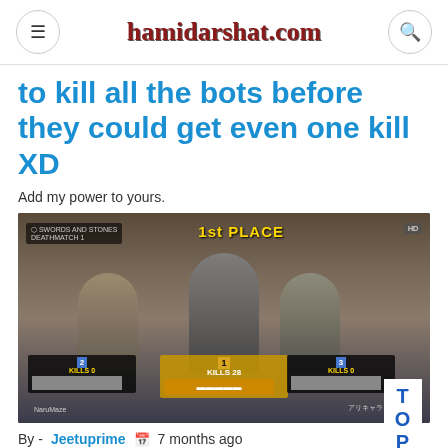hamidarshat.com
to kill all the bots before they could get even one kill XD
Add my power to yours.
[Figure (screenshot): Game screenshot showing 1st PLACE result screen with three soldiers/characters and player cards showing kills. Center character is a female in gray crop top. Left and right are armored soldiers. Bottom cards show KILLS 0 for left and right players, and KILLS 28 for center player.]
By - Jeetuprime  7 months ago